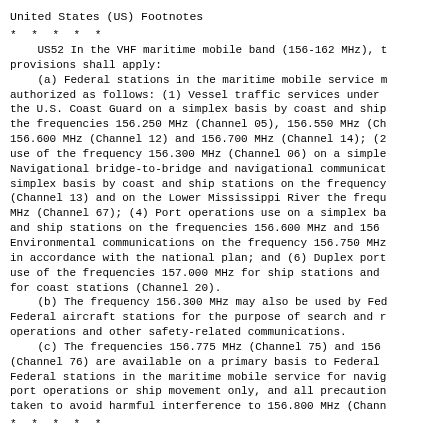United States (US) Footnotes
* * * * *
US52 In the VHF maritime mobile band (156-162 MHz), the following provisions shall apply:
(a) Federal stations in the maritime mobile service may be authorized as follows: (1) Vessel traffic services under the U.S. Coast Guard on a simplex basis by coast and ship stations on the frequencies 156.250 MHz (Channel 05), 156.550 MHz (Ch... 156.600 MHz (Channel 12) and 156.700 MHz (Channel 14); (2... use of the frequency 156.300 MHz (Channel 06) on a simplex basis; (3) Navigational bridge-to-bridge and navigational communications on a simplex basis by coast and ship stations on the frequency... (Channel 13) and on the Lower Mississippi River the frequency... MHz (Channel 67); (4) Port operations use on a simplex basis by coast and ship stations on the frequencies 156.600 MHz and 156... Environmental communications on the frequency 156.750 MHz... in accordance with the national plan; and (6) Duplex port operations use of the frequencies 157.000 MHz for ship stations and ... for coast stations (Channel 20).
(b) The frequency 156.300 MHz may also be used by Federal aircraft stations for the purpose of search and rescue operations and other safety-related communications.
(c) The frequencies 156.775 MHz (Channel 75) and 156... (Channel 76) are available on a primary basis to Federal... Federal stations in the maritime mobile service for navigational port operations or ship movement only, and all precautions taken to avoid harmful interference to 156.800 MHz (Channel...
* * * * *